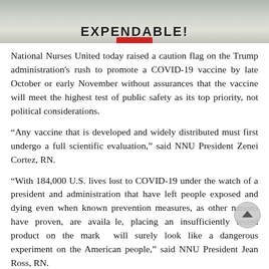[Figure (photo): Partial photo showing a protest sign reading 'EXPENDABLE!' with red bottom portion visible, gray/muted background]
National Nurses United today raised a caution flag on the Trump administration's rush to promote a COVID-19 vaccine by late October or early November without assurances that the vaccine will meet the highest test of public safety as its top priority, not political considerations.
“Any vaccine that is developed and widely distributed must first undergo a full scientific evaluation,” said NNU President Zenei Cortez, RN.
“With 184,000 U.S. lives lost to COVID-19 under the watch of a president and administration that have left people exposed and dying even when known prevention measures, as other nations have proven, are available, placing an insufficiently tested product on the market will surely look like a dangerous experiment on the American people,” said NNU President Jean Ross, RN.